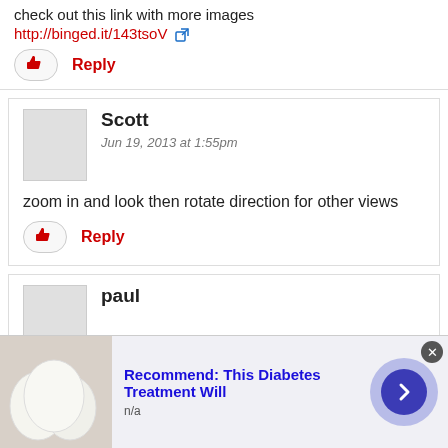check out this link with more images
http://binged.it/143tsoV
Reply
Scott
Jun 19, 2013 at 1:55pm
zoom in and look then rotate direction for other views
Reply
paul
[Figure (screenshot): Advertisement bar showing 'Recommend: This Diabetes Treatment Will' with egg photo, n/a text, close button, and navigation arrow]